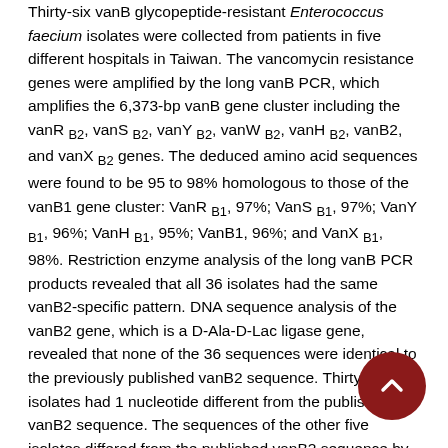Thirty-six vanB glycopeptide-resistant Enterococcus faecium isolates were collected from patients in five different hospitals in Taiwan. The vancomycin resistance genes were amplified by the long vanB PCR, which amplifies the 6,373-bp vanB gene cluster including the vanR B2, vanS B2, vanY B2, vanW B2, vanH B2, vanB2, and vanX B2 genes. The deduced amino acid sequences were found to be 95 to 98% homologous to those of the vanB1 gene cluster: VanR B1, 97%; VanS B1, 97%; VanY B1, 96%; VanH B1, 95%; VanB1, 96%; and VanX B1, 98%. Restriction enzyme analysis of the long vanB PCR products revealed that all 36 isolates had the same vanB2-specific pattern. DNA sequence analysis of the vanB2 gene, which is a D-Ala-D-Lac ligase gene, revealed that none of the 36 sequences were identical to the previously published vanB2 sequence. Thirty-one isolates had 1 nucleotide different from the published vanB2 sequence. The sequences of the other five isolates differed from the published vanB2 sequence by 2 or 3 nucleotides. Four isolates with a low or moderate resistance to vancomycin (MIC = 4 to 32 μg/ml) were found to have the same leucine-to-methionine change at amino acid position 308 of the vanB2 gene. The genomic of all 36 isolates were digested with SmaI and then typed pulsed-field gel electrophoresis (PFGE). Eight different PFGE types (I to VIII) were observed, and type I was found to be